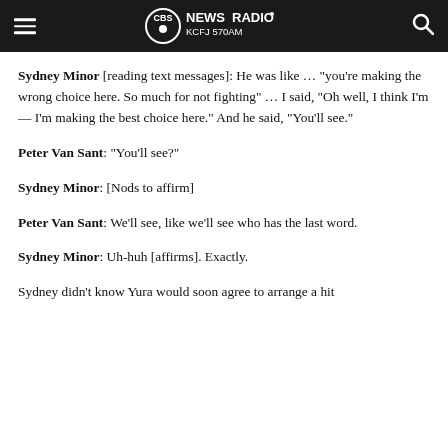CBS News Radio KCFJ 570AM
Sydney Minor [reading text messages]: He was like … "you're making the wrong choice here. So much for not fighting" … I said, "Oh well, I think I'm — I'm making the best choice here." And he said, "You'll see."
Peter Van Sant: "You'll see?"
Sydney Minor: [Nods to affirm]
Peter Van Sant: We'll see, like we'll see who has the last word.
Sydney Minor: Uh-huh [affirms]. Exactly.
Sydney didn't know Yura would soon agree to arrange a hit